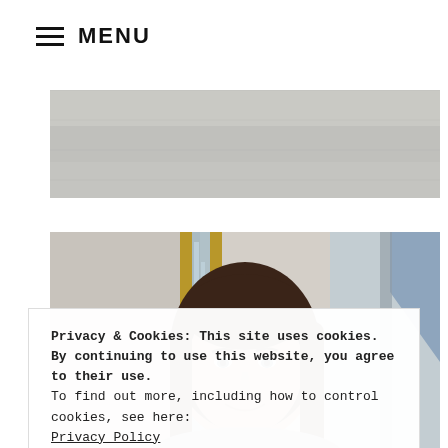≡ MENU
[Figure (photo): Top partial photo — grey stone/concrete wall background, partial architectural image]
[Figure (photo): Woman with dark shoulder-length hair smiling, standing outside in front of a building with gold-framed glass doors and a blue flag/banner in background]
Privacy & Cookies: This site uses cookies. By continuing to use this website, you agree to their use.
To find out more, including how to control cookies, see here: Privacy Policy
Close and accept